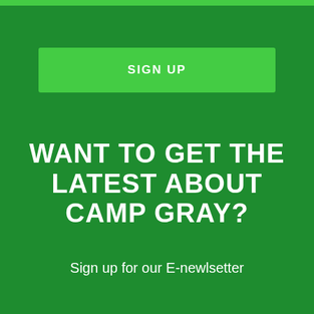[Figure (other): Green button labeled SIGN UP on a dark green background]
WANT TO GET THE LATEST ABOUT CAMP GRAY?
Sign up for our E-newlsetter